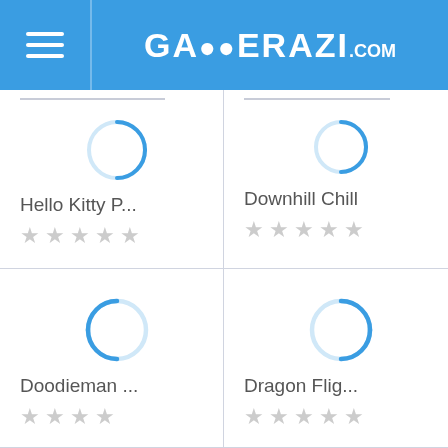GAMERAZI.com
[Figure (screenshot): Game listing card for Hello Kitty P... with loading spinner and star rating]
[Figure (screenshot): Game listing card for Downhill Chill with loading spinner and star rating]
[Figure (screenshot): Game listing card for Doodieman ... with loading spinner and star rating]
[Figure (screenshot): Game listing card for Dragon Flig... with loading spinner and star rating]